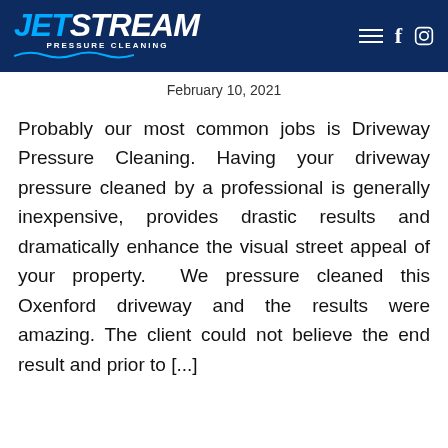[Figure (logo): JetStream Pressure Cleaning logo with blue and white text on dark navy header, with hamburger menu, Facebook and Instagram icons]
February 10, 2021
Probably our most common jobs is Driveway Pressure Cleaning. Having your driveway pressure cleaned by a professional is generally inexpensive, provides drastic results and dramatically enhance the visual street appeal of your property.  We pressure cleaned this Oxenford driveway and the results were amazing. The client could not believe the end result and prior to [...]